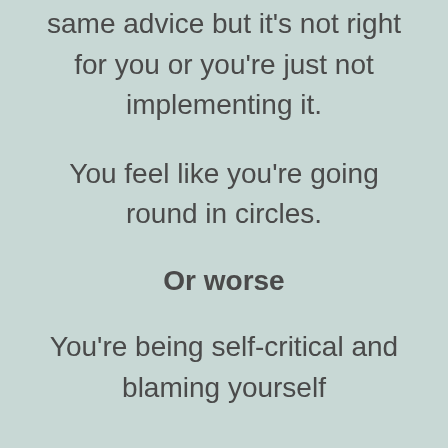same advice but it’s not right for you or you’re just not implementing it.
You feel like you’re going round in circles.
Or worse
You’re being self-critical and blaming yourself